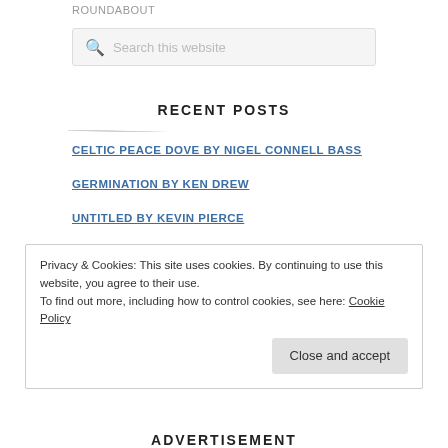ROUNDABOUT
Search this website
RECENT POSTS
CELTIC PEACE DOVE BY NIGEL CONNELL BASS
GERMINATION BY KEN DREW
UNTITLED BY KEVIN PIERCE
Privacy & Cookies: This site uses cookies. By continuing to use this website, you agree to their use.
To find out more, including how to control cookies, see here: Cookie Policy
Close and accept
ADVERTISEMENT